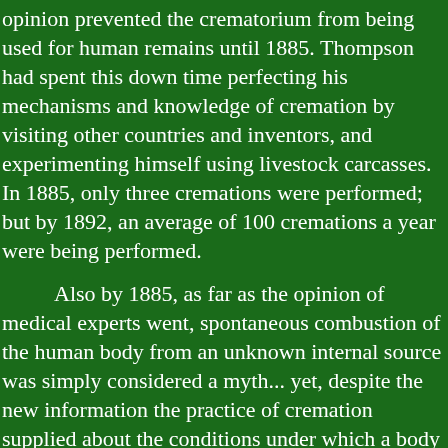opinion prevented the crematorium from being used for human remains until 1885. Thompson had spent this down time perfecting his mechanisms and knowledge of cremation by visiting other countries and inventors, and experimenting himself using livestock carcasses. In 1885, only three cremations were performed; but by 1892, an average of 100 cremations a year were being performed.
Also by 1885, as far as the opinion of medical experts went, spontaneous combustion of the human body from an unknown internal source was simply considered a myth... yet, despite the new information the practice of cremation supplied about the conditions under which a body could be destroyed by fire, the idea of preternatural combustibility continued to be seriously considered by medical professionals as a possibility. The main reason seems to be the ongoing disbelief that a normal human body could possibly be incinerated as completely as seen in the strange fire deaths, even with the candle effect.